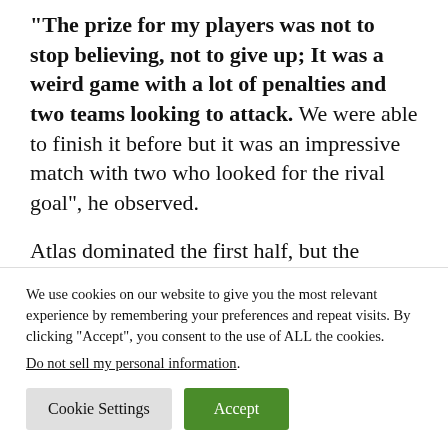“The prize for my players was not to stop believing, not to give up; It was a weird game with a lot of penalties and two teams looking to attack. We were able to finish it before but it was an impressive match with two who looked for the rival goal”, he observed.
Atlas dominated the first half, but the Tigres reacted with four goals in less than half an hour
We use cookies on our website to give you the most relevant experience by remembering your preferences and repeat visits. By clicking “Accept”, you consent to the use of ALL the cookies. Do not sell my personal information.